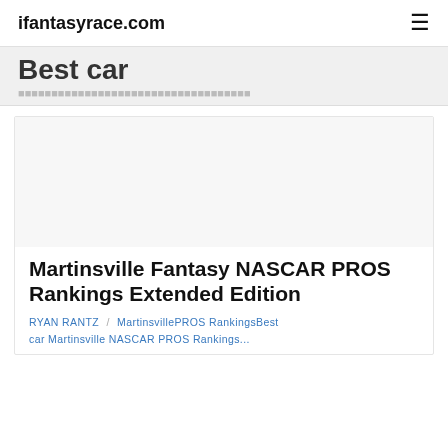ifantasyrace.com
Best car
[Figure (other): Article card image placeholder (blank/white image area)]
Martinsville Fantasy NASCAR PROS Rankings Extended Edition
RYAN RANTZ / MartinsvillePROS RankingsBest car Martinsville NASCAR PROS Rankings...